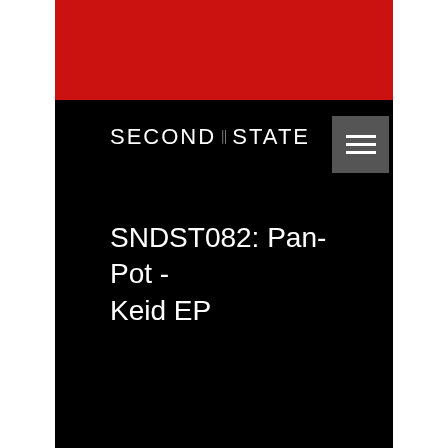SECOND STATE
SNDST082: Pan-Pot - Keid EP